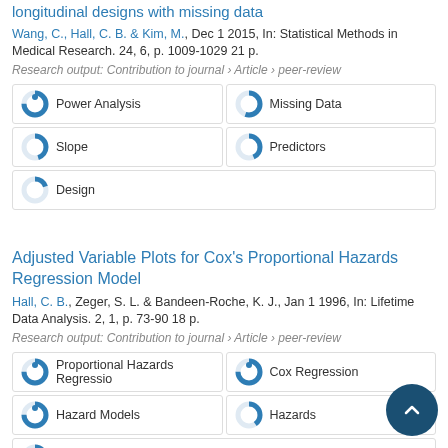longitudinal designs with missing data
Wang, C., Hall, C. B. & Kim, M., Dec 1 2015, In: Statistical Methods in Medical Research. 24, 6, p. 1009-1029 21 p.
Research output: Contribution to journal › Article › peer-review
Power Analysis
Missing Data
Slope
Predictors
Design
Adjusted Variable Plots for Cox's Proportional Hazards Regression Model
Hall, C. B., Zeger, S. L. & Bandeen-Roche, K. J., Jan 1 1996, In: Lifetime Data Analysis. 2, 1, p. 73-90 18 p.
Research output: Contribution to journal › Article › peer-review
Proportional Hazards Regressio
Cox Regression
Hazard Models
Hazards
Regression Model